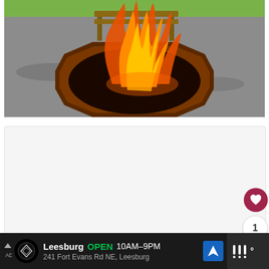[Figure (photo): An octagonal metal fire pit with large orange flames shooting upward, set on gravel with green grass and a wooden bench visible in the background.]
[Figure (other): White/light gray content card area, mostly blank.]
[Figure (other): Heart/like button (dark red circle with heart icon), count label '1', and share button (circle with share icon) on the right side.]
Leesburg OPEN 10AM-9PM 241 Fort Evans Rd NE, Leesburg